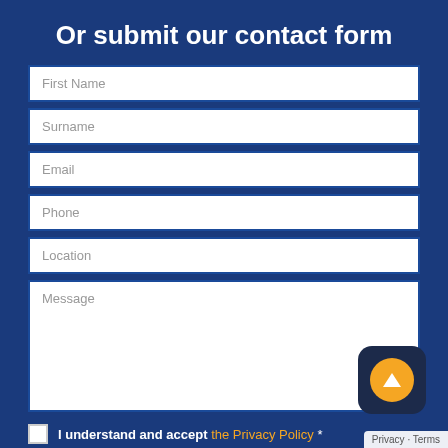Or submit our contact form
First Name
Surname
Email
Phone
Location
Message
I understand and accept the Privacy Policy *
You have have my permission to store my information